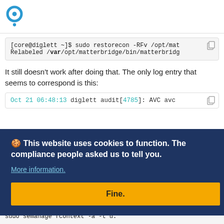Discourse forum page header with logo
[core@diglett ~]$ sudo restorecon -RFv /opt/mat
Relabeled /var/opt/matterbridge/bin/matterbridg
It still doesn't work after doing that. The only log entry that seems to correspond is this:
Oct 21 06:48:13 diglett audit[4785]: AVC avc
🍪 This website uses cookies to function. The compliance people asked us to tell you.
More information.
Fine.
sudo semanage fcontext -a -t u: